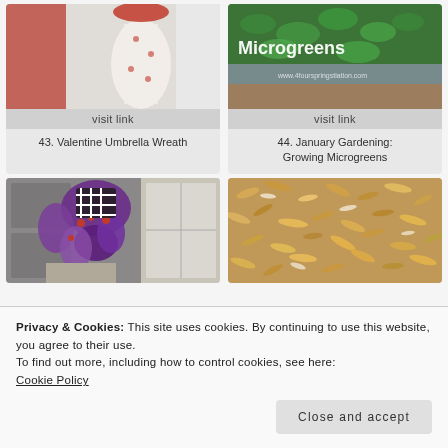[Figure (photo): Valentine umbrella wreath craft photo — decorative umbrella with red and white ribbons]
visit link
43. Valentine Umbrella Wreath
[Figure (photo): Microgreens growing — green plants and text overlay reading Microgreens]
visit link
44. January Gardening: Growing Microgreens
[Figure (photo): Purple and black bow wreath on door with red berries]
[Figure (photo): Close-up of toasted coconut flakes]
Privacy & Cookies: This site uses cookies. By continuing to use this website, you agree to their use.
To find out more, including how to control cookies, see here:
Cookie Policy
Close and accept